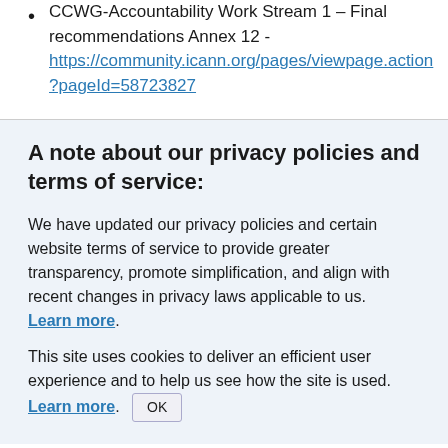CCWG-Accountability Work Stream 1 – Final recommendations Annex 12 - https://community.icann.org/pages/viewpage.action?pageId=58723827
A note about our privacy policies and terms of service:
We have updated our privacy policies and certain website terms of service to provide greater transparency, promote simplification, and align with recent changes in privacy laws applicable to us. Learn more.
This site uses cookies to deliver an efficient user experience and to help us see how the site is used. Learn more. OK